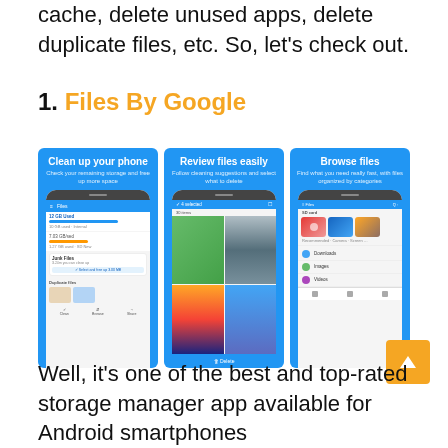cache, delete unused apps, delete duplicate files, etc. So, let's check out.
1. Files By Google
[Figure (screenshot): Three screenshots of Files By Google app showing 'Clean up your phone', 'Review files easily', and 'Browse files' screens on blue background]
Well, it's one of the best and top-rated storage manager app available for Android smartphones